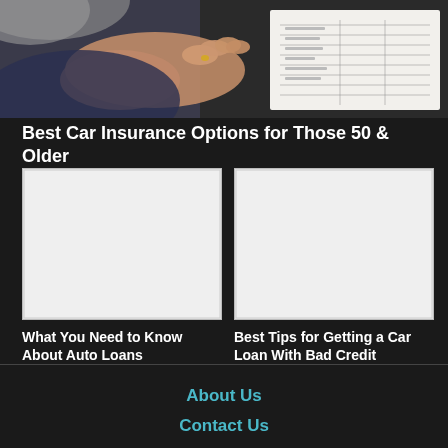[Figure (photo): Elderly person's hands gesturing over a document/form on a table, another person reviewing the form]
Best Car Insurance Options for Those 50 & Older
[Figure (photo): Placeholder image for auto loans article (light gray/white rectangle)]
What You Need to Know About Auto Loans
[Figure (photo): Placeholder image for car loan bad credit article (light gray/white rectangle)]
Best Tips for Getting a Car Loan With Bad Credit
About Us
Contact Us